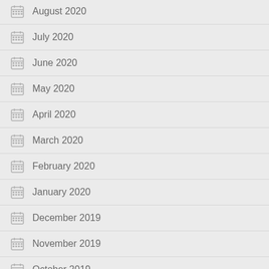August 2020
July 2020
June 2020
May 2020
April 2020
March 2020
February 2020
January 2020
December 2019
November 2019
October 2019
September 2019